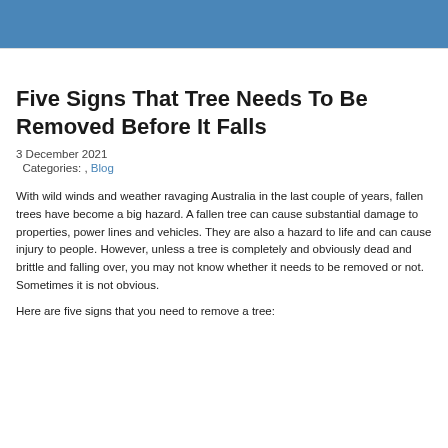Five Signs That Tree Needs To Be Removed Before It Falls
3 December 2021
Categories: , Blog
With wild winds and weather ravaging Australia in the last couple of years, fallen trees have become a big hazard. A fallen tree can cause substantial damage to properties, power lines and vehicles. They are also a hazard to life and can cause injury to people. However, unless a tree is completely and obviously dead and brittle and falling over, you may not know whether it needs to be removed or not. Sometimes it is not obvious.
Here are five signs that you need to remove a tree: